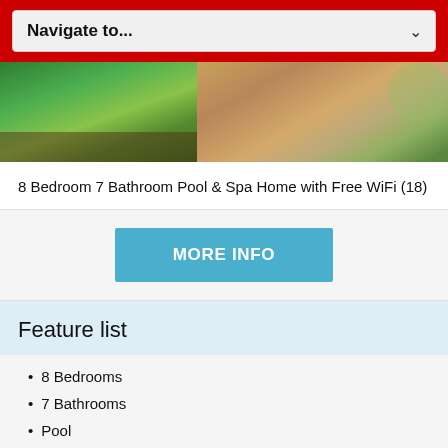Navigate to...
[Figure (photo): Outdoor landscaping photo showing green lawn with garden bed on the left and brick/paver pathway on the right, with shrubs and trees in background]
8 Bedroom 7 Bathroom Pool & Spa Home with Free WiFi (18)
MORE INFO
Feature list
8 Bedrooms
7 Bathrooms
Pool
Spa
Gated Community
Laundry Room
Towels/Linen